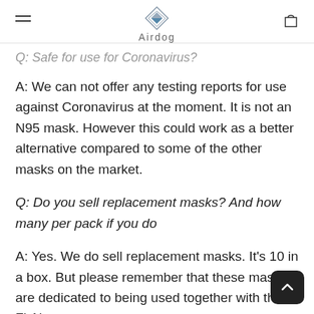Airdog
Q: Safe for use for Coronavirus?
A: We can not offer any testing reports for use against Coronavirus at the moment. It is not an N95 mask. However this could work as a better alternative compared to some of the other masks on the market.
Q: Do you sell replacement masks? And how many per pack if you do
A: Yes. We do sell replacement masks. It's 10 in a box. But please remember that these masks are dedicated to being used together with the FitAir